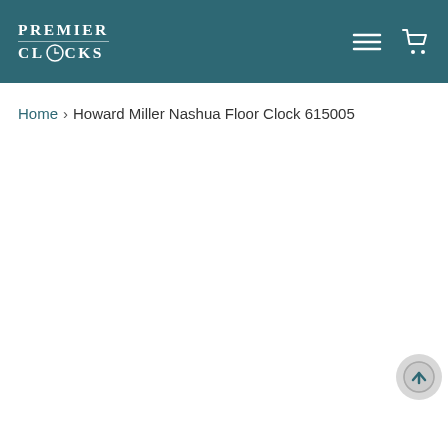Premier Clocks
Home › Howard Miller Nashua Floor Clock 615005